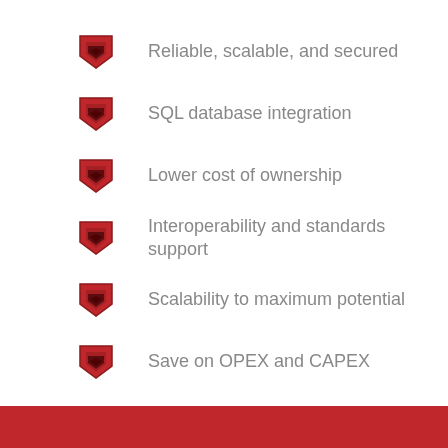Reliable, scalable, and secured
SQL database integration
Lower cost of ownership
Interoperability and standards support
Scalability to maximum potential
Save on OPEX and CAPEX